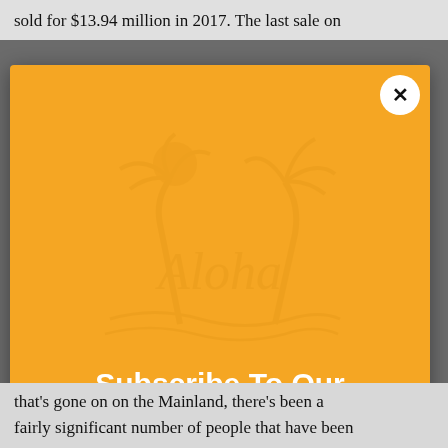sold for $13.94 million in 2017. The last sale on
[Figure (screenshot): Orange popup modal with Aloha watermark logo, close button (X) in top-right corner, and 'Subscribe To Our' text in white bold at the bottom. Background is a dark gray webpage.]
that's gone on on the Mainland, there's been a fairly significant number of people that have been